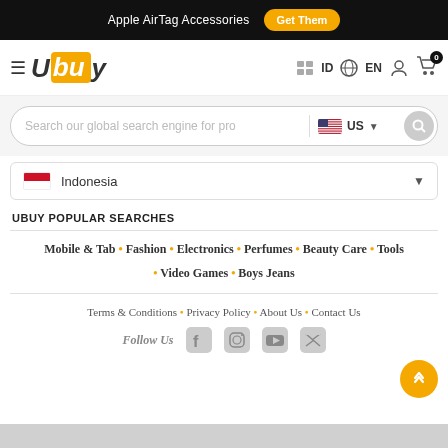Apple AirTag Accessories  Get Them
[Figure (screenshot): Ubuy website navigation bar with hamburger menu, Ubuy logo, country/language selectors (ID, EN), user account icon, and shopping cart with 0 items]
[Figure (screenshot): Search bar with placeholder 'Search our global search engine for pro', US flag country selector, and search button]
[Figure (screenshot): Indonesia country selector dropdown with Indonesian flag]
UBUY POPULAR SEARCHES
Mobile & Tab * Fashion * Electronics * Perfumes * Beauty Care * Tools * Video Games * Boys Jeans
Terms & Conditions • Privacy Policy • About Us • Contact Us
Follow Us